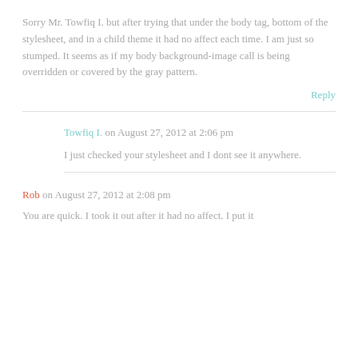Sorry Mr. Towfiq I. but after trying that under the body tag, bottom of the stylesheet, and in a child theme it had no affect each time. I am just so stumped. It seems as if my body background-image call is being overridden or covered by the gray pattern.
Reply
Towfiq I. on August 27, 2012 at 2:06 pm
I just checked your stylesheet and I dont see it anywhere.
Rob on August 27, 2012 at 2:08 pm
You are quick. I took it out after it had no affect. I put it